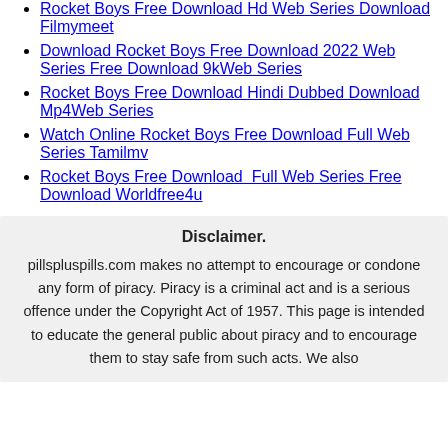Rocket Boys Free Download Hd Web Series Download Filmymeet
Download Rocket Boys Free Download 2022 Web Series Free Download 9kWeb Series
Rocket Boys Free Download Hindi Dubbed Download Mp4Web Series
Watch Online Rocket Boys Free Download Full Web Series Tamilmv
Rocket Boys Free Download  Full Web Series Free Download Worldfree4u
Disclaimer.
pillspluspills.com makes no attempt to encourage or condone any form of piracy. Piracy is a criminal act and is a serious offence under the Copyright Act of 1957. This page is intended to educate the general public about piracy and to encourage them to stay safe from such acts. We also